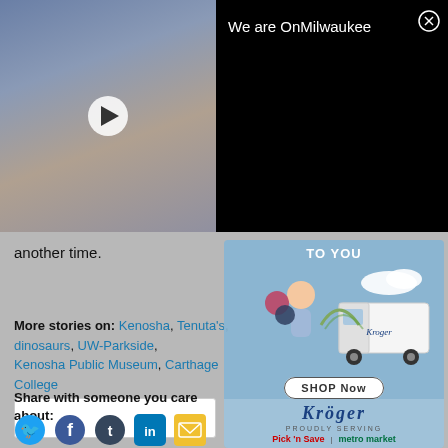[Figure (screenshot): Video thumbnail showing a group photo of people, with a play button overlaid. Black bar on the right shows 'We are OnMilwaukee' title and a close (X) button.]
another time.
More stories on: Kenosha, Tenuta's, dinosaurs, UW-Parkside, Kenosha Public Museum, Carthage College
[Figure (infographic): Kroger delivery advertisement overlay showing 'TO YOU' text, animated character holding berries, Kroger delivery truck, 'SHOP Now' button, Kroger logo, 'PROUDLY SERVING', Pick 'n Save and metro market logos.]
Share with someone you care about:
[Figure (infographic): Social sharing icons row: Twitter, Facebook, Tumblr, LinkedIn, Email]